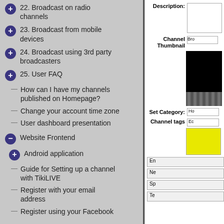22. Broadcast on radio channels
23. Broadcast from mobile devices
24. Broadcast using 3rd party broadcasters
25. User FAQ
How can I have my channels published on Homepage?
Change your account time zone
User dashboard presentation
Website Frontend
Android application
Guide for Setting up a channel with TikiLIVE
Register with your email address
Register using your Facebook
[Figure (screenshot): Right panel showing a form with fields: Description (textarea), Channel Thumbnail (with dark image preview), Set Category (input), Channel tags (yellow textarea), and several buttons labeled En, Ne, Sp, Te]